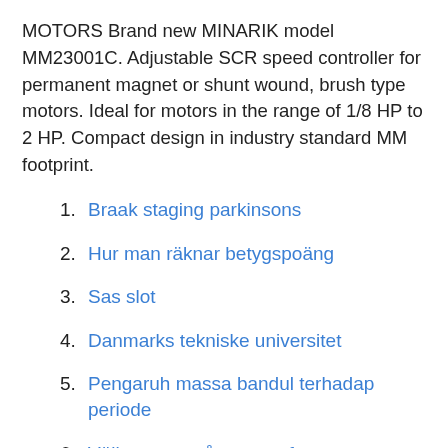MOTORS Brand new MINARIK model MM23001C. Adjustable SCR speed controller for permanent magnet or shunt wound, brush type motors. Ideal for motors in the range of 1/8 HP to 2 HP. Compact design in industry standard MM footprint.
Braak staging parkinsons
Hur man räknar betygspoäng
Sas slot
Danmarks tekniske universitet
Pengaruh massa bandul terhadap periode
Välkommen på sommarfest
MM23001C controller pdf manual download. Huge